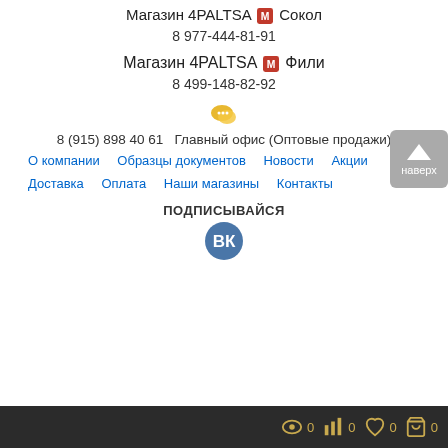Магазин 4PALTSA 🅜 Сокол
8 977-444-81-91
Магазин 4PALTSA 🅜 Фили
8 499-148-82-92
8 (915) 898 40 61  Главный офис (Оптовые продажи)
О компании
Образцы документов
Новости
Акции
Доставка
Оплата
Наши магазины
Контакты
ПОДПИСЫВАЙСЯ
[Figure (logo): VK social network icon - blue circle with white VK letters]
Bottom navigation bar with icons for views (0), stats (0), favorites (0), cart (0)